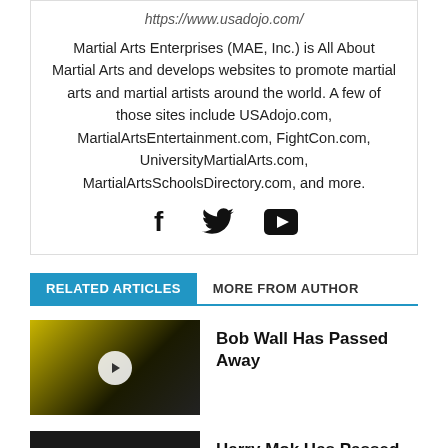https://www.usadojo.com/
Martial Arts Enterprises (MAE, Inc.) is All About Martial Arts and develops websites to promote martial arts and martial artists around the world. A few of those sites include USAdojo.com, MartialArtsEntertainment.com, FightCon.com, UniversityMartialArts.com, MartialArtsSchoolsDirectory.com, and more.
[Figure (infographic): Social media icons: Facebook (f), Twitter (bird), YouTube (play button in rectangle)]
RELATED ARTICLES   MORE FROM AUTHOR
[Figure (photo): Thumbnail image for 'Bob Wall Has Passed Away' article with play button overlay, showing two figures on yellow/dark background]
Bob Wall Has Passed Away
[Figure (photo): Thumbnail image for 'Harry Mok Has Passed Away' article with play button overlay, dark background with text]
Harry Mok Has Passed Away